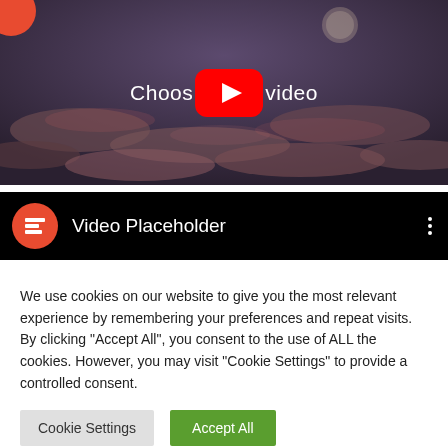[Figure (screenshot): YouTube-style video thumbnail with dark cloudy sky background, YouTube play button icon in red, and text 'Choose video']
[Figure (screenshot): Video Placeholder bar with Elementor orange icon on left, text 'Video Placeholder', and three vertical dots on right, on black background]
We use cookies on our website to give you the most relevant experience by remembering your preferences and repeat visits. By clicking "Accept All", you consent to the use of ALL the cookies. However, you may visit "Cookie Settings" to provide a controlled consent.
Cookie Settings | Accept All